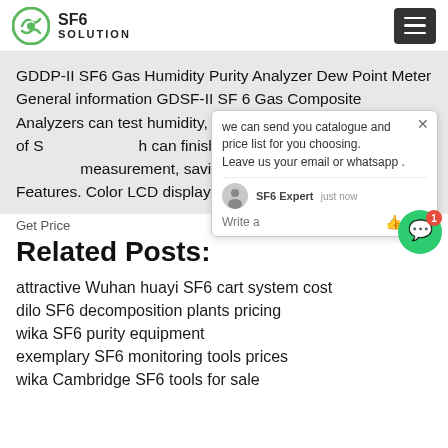SF6 SOLUTION
GDDP-II SF6 Gas Humidity Purity Analyzer Dew Point Meter General information GDSF-II SF 6 Gas Composite Analyzers can test humidity, decomposition products, purity of SF... h can finish two items detection in one measurement, saving gas in the equ... Features. Color LCD display,real-tin... s of parameters;
Related Posts:
attractive Wuhan huayi SF6 cart system cost
dilo SF6 decomposition plants pricing
wika SF6 purity equipment
exemplary SF6 monitoring tools prices
wika Cambridge SF6 tools for sale